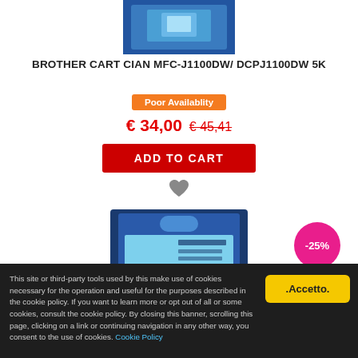[Figure (photo): Brother cyan ink cartridge product image (top, partially cropped)]
BROTHER CART CIAN MFC-J1100DW/ DCPJ1100DW 5K
Poor Availablity
€ 34,00 € 45,41
ADD TO CART
[Figure (photo): Brother cyan ink cartridge product image (second listing, with -25% discount badge)]
This site or third-party tools used by this make use of cookies necessary for the operation and useful for the purposes described in the cookie policy. If you want to learn more or opt out of all or some cookies, consult the cookie policy. By closing this banner, scrolling this page, clicking on a link or continuing navigation in any other way, you consent to the use of cookies. Cookie Policy
.Accetto.